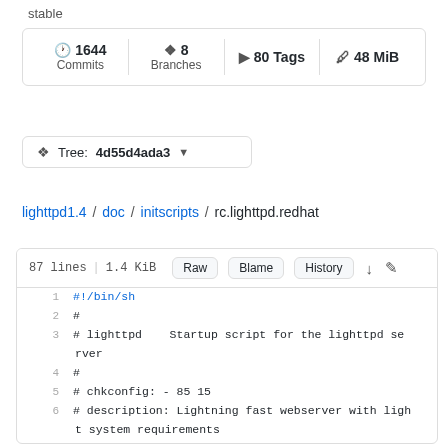stable
1644 Commits   8 Branches   80 Tags   48 MiB
Tree: 4d55d4ada3
lighttpd1.4 / doc / initscripts / rc.lighttpd.redhat
87 lines | 1.4 KiB   Raw   Blame   History
1  #!/bin/sh
2  #
3  # lighttpd    Startup script for the lighttpd server
4  #
5  # chkconfig: - 85 15
6  # description: Lightning fast webserver with light system requirements
7  #
8  # processname: lighttpd